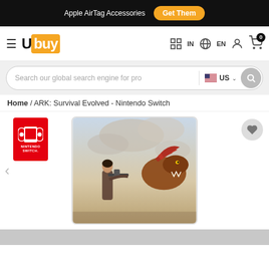Apple AirTag Accessories  Get Them
[Figure (logo): Ubuy e-commerce website navigation bar with hamburger menu, Ubuy logo, country selector (IN), language (EN), account icon, and cart icon with badge 0]
[Figure (screenshot): Search bar with placeholder 'Search our global search engine for pro', US flag country selector, and search button]
Home / ARK: Survival Evolved - Nintendo Switch
[Figure (photo): ARK: Survival Evolved Nintendo Switch game box art showing a woman with a weapon riding a large dinosaur against a cloudy sky background. Nintendo Switch logo visible in top left corner.]